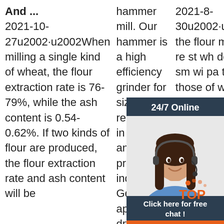And ... 2021-10-27u2002·u2002When milling a single kind of wheat, the flour extraction rate is 76-79%, while the ash content is 0.54-0.62%. If two kinds of flour are produced, the flour extraction rate and ash content will be
hammer mill. Our hammer is a high efficiency grinder for size reduction in feed and food processing industries. Generally applied for dry materials with a bulk density of 0.2-0.8 kg/dm³, it convinces through high
2021-8-30u2002·u2002In the flour mill, the re st wh de La sm wi pa than those of wheat can be removed by simple screening
[Figure (other): Customer service chat widget overlay showing a woman with headset, '24/7 Online' header, 'Click here for free chat!' text, and an orange QUOTATION button]